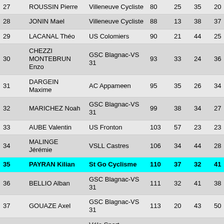| # | Name | Club | Pts | C1 | C2 | C3 |
| --- | --- | --- | --- | --- | --- | --- |
| 27 | ROUSSIN Pierre | Villeneuve Cycliste | 80 | 25 | 35 | 20 |
| 28 | JONIN Mael | Villeneuve Cycliste | 88 | 13 | 38 | 37 |
| 29 | LACANAL Théo | US Colomiers | 90 | 21 | 44 | 25 |
| 30 | CHEZZI MONTEBRUN Enzo | GSC Blagnac-VS 31 | 93 | 33 | 24 | 36 |
| 31 | DARGEIN Maxime | AC Appameen | 95 | 35 | 26 | 34 |
| 32 | MARICHEZ Noah | GSC Blagnac-VS 31 | 99 | 38 | 34 | 27 |
| 33 | AUBE Valentin | US Fronton | 103 | 57 | 23 | 23 |
| 34 | MALINGE Jérémie | VSLL Castres | 106 | 34 | 44 | 28 |
| 35 | PAYRAN Kilian | St Go Cyclisme | 110 | 37 | 32 | 41 |
| 36 | BELLIO Alban | GSC Blagnac-VS 31 | 111 | 32 | 41 | 38 |
| 37 | GOUAZE Axel | GSC Blagnac-VS 31 | 113 | 20 | 43 | 50 |
| 38 | ARILLA Lisa | Vélo Sport Montalbanais | 114 | 48 | 33 | 33 |
| 39 | MERLE Florian | GSC Blagnac-VS 31 | 119 | 50 | 29 | 40 |
| 40 | DEMAY Lucas | VC Lavaur | 120 | 26 | 39 | 55 |